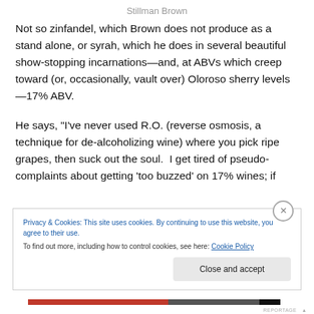Stillman Brown
Not so zinfandel, which Brown does not produce as a stand alone, or syrah, which he does in several beautiful show-stopping incarnations—and, at ABVs which creep toward (or, occasionally, vault over) Oloroso sherry levels—17% ABV.
He says, “I’ve never used R.O. (reverse osmosis, a technique for de-alcoholizing wine) where you pick ripe grapes, then suck out the soul.  I get tired of pseudo-complaints about getting ‘too buzzed’ on 17% wines; if
Privacy & Cookies: This site uses cookies. By continuing to use this website, you agree to their use.
To find out more, including how to control cookies, see here: Cookie Policy